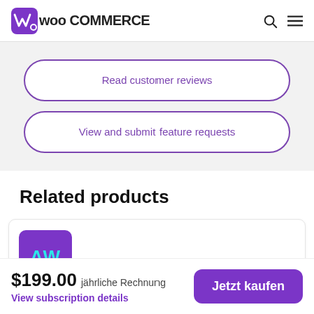WooCommerce
Read customer reviews
View and submit feature requests
Related products
[Figure (logo): AW product icon — purple rounded square with cyan AW text]
$199.00 jährliche Rechnung
View subscription details
Jetzt kaufen